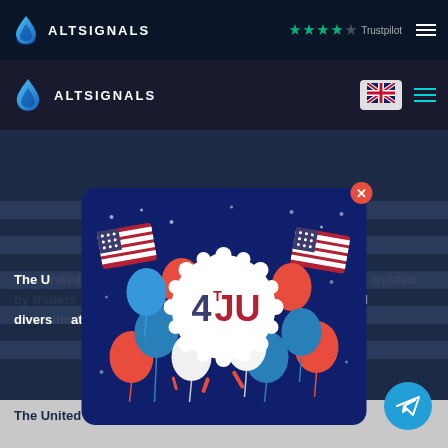ALTSIGNALS | Trustpilot | Navigation
[Figure (screenshot): AltSignals website screenshot showing navigation bars, hero section with title about United States trading partners, a 4th of July popup overlay with balloons, breadcrumb navigation, and a Telegram button]
The United States is the largest economy around the world in terms of innovation, investment and diversification.
Blog >> Trading >> Top 3 United States Trading Partners
The United States is the largest economy around the